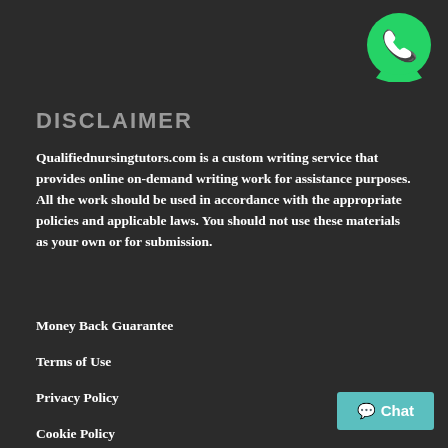[Figure (logo): WhatsApp green logo icon in top-right corner]
DISCLAIMER
Qualifiednursingtutors.com is a custom writing service that provides online on-demand writing work for assistance purposes. All the work should be used in accordance with the appropriate policies and applicable laws. You should not use these materials as your own or for submission.
Money Back Guarantee
Terms of Use
Privacy Policy
Cookie Policy
FAQ's
Why US